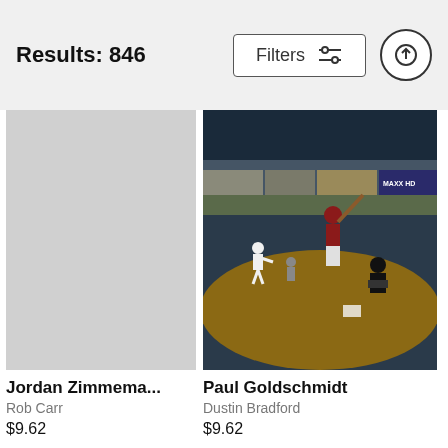Results: 846
Filters
[Figure (photo): Baseball game scene showing Paul Goldschmidt batting at home plate with pitcher, catcher and umpire visible in a stadium]
Jordan Zimmerman...
Rob Carr
$9.62
Paul Goldschmidt
Dustin Bradford
$9.62
[Figure (photo): Baseball pitcher in Boston Red Sox gray uniform mid-windup, with colorful crowd in the background]